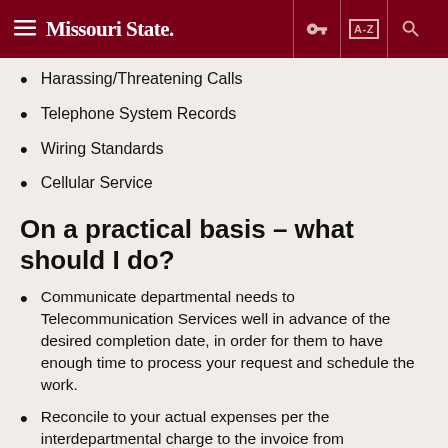Missouri State [navigation header with menu, key, A-Z, and search icons]
Harassing/Threatening Calls
Telephone System Records
Wiring Standards
Cellular Service
On a practical basis – what should I do?
Communicate departmental needs to Telecommunication Services well in advance of the desired completion date, in order for them to have enough time to process your request and schedule the work.
Reconcile to your actual expenses per the interdepartmental charge to the invoice from Telecommunications.